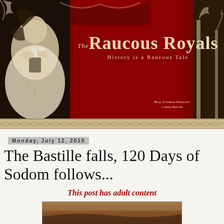[Figure (illustration): The Raucous Royals blog banner: decorative illustration of a woman in historical dress reading a book on the left, large red background with tree silhouettes. Text reads 'The Raucous Royals - History is a Raucous Tale'. Credit: Blog of Author/Illustrator Caitlin Bissom.]
Monday, July 12, 2010
The Bastille falls, 120 Days of Sodom follows...
This post has adult content
[Figure (photo): Partial view of a painting or photo at the bottom of the page, showing a dark brownish landscape scene.]